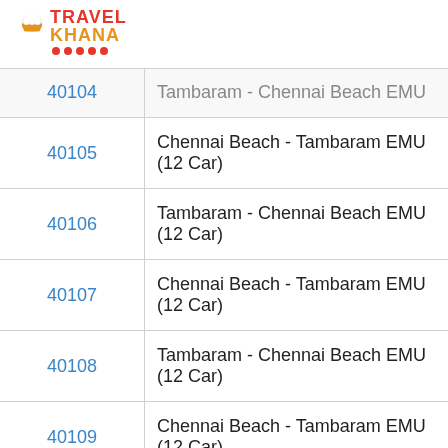Travel Khana logo
| Train No. | Train Name |
| --- | --- |
| 40104 | Tambaram - Chennai Beach EMU |
| 40105 | Chennai Beach - Tambaram EMU (12 Car) |
| 40106 | Tambaram - Chennai Beach EMU (12 Car) |
| 40107 | Chennai Beach - Tambaram EMU (12 Car) |
| 40108 | Tambaram - Chennai Beach EMU (12 Car) |
| 40109 | Chennai Beach - Tambaram EMU (12 Car) |
| 40110 | Tambaram - Chennai Beach EMU (12 Car) |
| 40111 | Chennai Beach - Tambaram EMU (12 Car) |
| 40112 | Tambaram - Chennai Beach EMU (12 Car) |
| 40113 | Chennai Beach - Tambaram EMU (12 Car) |